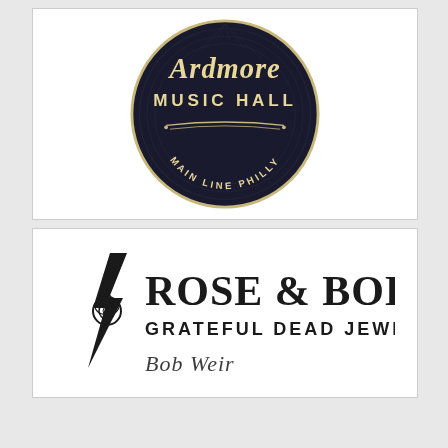[Figure (logo): Ardmore Music Hall circular logo with vinyl record design, teal and cream lettering on black background. Text reads: Ardmore, MUSIC HALL, MAIN LINE PHILLY]
[Figure (logo): Rose & Bolt Grateful Dead Jewelry logo. Features a lightning bolt with a rose illustration. Large serif text: ROSE & BOLT, smaller caps text: GRATEFUL DEAD JEWELRY, with a cursive signature below.]